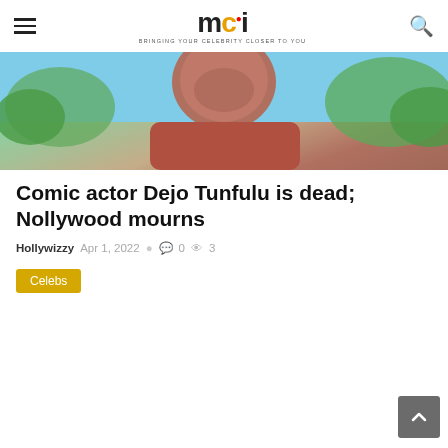mci — BRINGING YOUR CELEBRITY CLOSER TO YOU
[Figure (photo): Close-up photo of a man's face outdoors with trees and blue sky in background]
Comic actor Dejo Tunfulu is dead; Nollywood mourns
Hollywizzy  Apr 1, 2022  0  3
Celebs